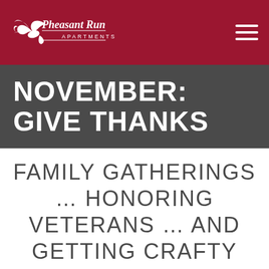[Figure (logo): Pheasant Run Apartments logo with hummingbird icon and text on dark red background]
NOVEMBER: GIVE THANKS
FAMILY GATHERINGS … HONORING VETERANS … AND GETTING CRAFTY